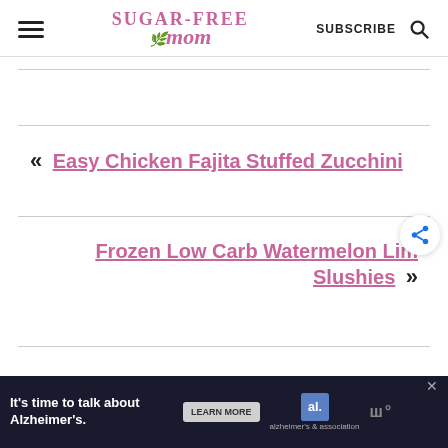Sugar-Free Mom — SUBSCRIBE [search icon]
« Easy Chicken Fajita Stuffed Zucchini
Frozen Low Carb Watermelon Lim Slushies »
[Figure (screenshot): Advertisement banner: It's time to talk about Alzheimer's. Learn More. Alzheimer's Association logo.]